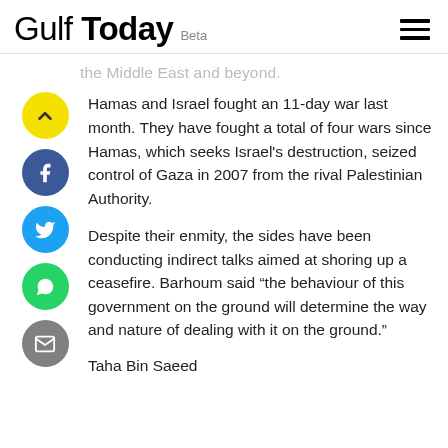Gulf Today Beta
the Middle East and beyond.
Hamas and Israel fought an 11-day war last month. They have fought a total of four wars since Hamas, which seeks Israel's destruction, seized control of Gaza in 2007 from the rival Palestinian Authority.
Despite their enmity, the sides have been conducting indirect talks aimed at shoring up a ceasefire. Barhoum said “the behaviour of this government on the ground will determine the way and nature of dealing with it on the ground.”
Taha Bin Saeed